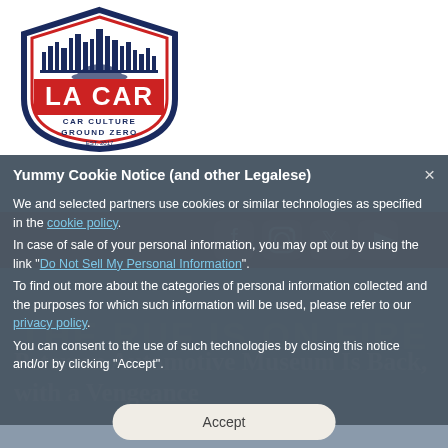[Figure (logo): LA CAR shield logo - navy blue shield with red accents, city skyline silhouette at top, 'LA CAR' in large red letters, 'CAR CULTURE GROUND ZERO' text below]
Yummy Cookie Notice (and other Legalese)
We and selected partners use cookies or similar technologies as specified in the cookie policy. In case of sale of your personal information, you may opt out by using the link "Do Not Sell My Personal Information". To find out more about the categories of personal information collected and the purposes for which such information will be used, please refer to our privacy policy. You can consent to the use of such technologies by closing this notice and/or by clicking "Accept".
[Figure (infographic): Social media icons: Facebook, Instagram, Twitter, YouTube - white icons on dark red bar]
THE RUF IS ON FIRE
Petersen Automotive Museum Is Back, with a Vengeance
Accept